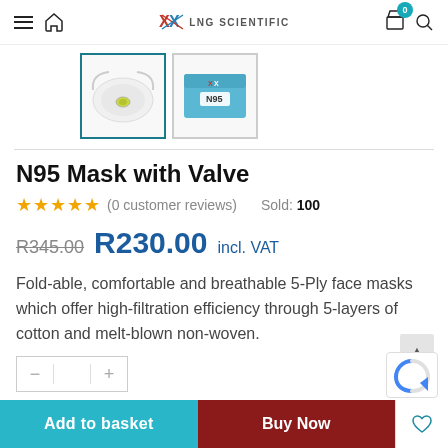LNG Scientific - Navigation bar with menu, home, logo, cart (0), search
[Figure (photo): Two product thumbnails: N95 mask (selected, teal border) and N95 box packaging]
N95 Mask with Valve
☆☆☆☆☆ (0 customer reviews)   Sold: 100
R345.00  R230.00 incl. VAT
Fold-able, comfortable and breathable 5-Ply face masks which offer high-filtration efficiency through 5-layers of cotton and melt-blown non-woven.
Add to basket   Buy Now   ♡